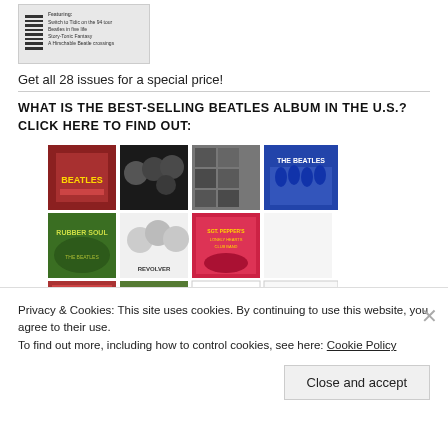[Figure (photo): Magazine thumbnail with barcode and text listing tour features: Switch to Tidic on the 94 tour, Beatles in five life, Story-Tonic Fantasy, A Hirschable Beatle crossings]
Get all 28 issues for a special price!
WHAT IS THE BEST-SELLING BEATLES ALBUM IN THE U.S.? CLICK HERE TO FIND OUT:
[Figure (photo): Grid collage of Beatles album covers arranged in three rows showing various albums]
Privacy & Cookies: This site uses cookies. By continuing to use this website, you agree to their use.
To find out more, including how to control cookies, see here: Cookie Policy
Close and accept